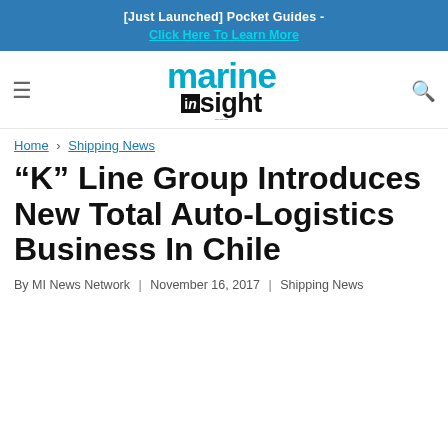[Just Launched] Pocket Guides - Click Here To Learn More
[Figure (logo): Marine Insight logo with marine/insight text in teal and black]
Home › Shipping News
“K” Line Group Introduces New Total Auto-Logistics Business In Chile
By MI News Network | November 16, 2017 | Shipping News